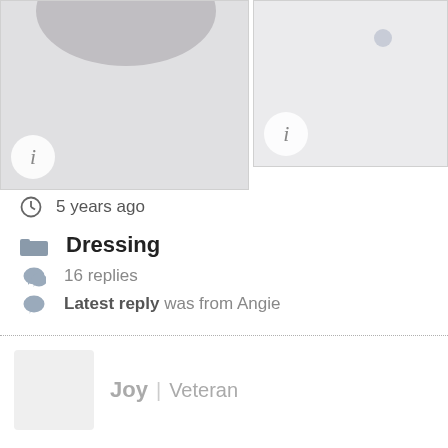[Figure (photo): Two image thumbnails side by side with info (i) circle icons in the lower-left corners. Left image shows a partial view of a person, right image is mostly blank/gray with a small dot.]
5 years ago
Dressing
16 replies
Latest reply was from Angie
Joy | Veteran
Great looking outfit. A nude cami w...